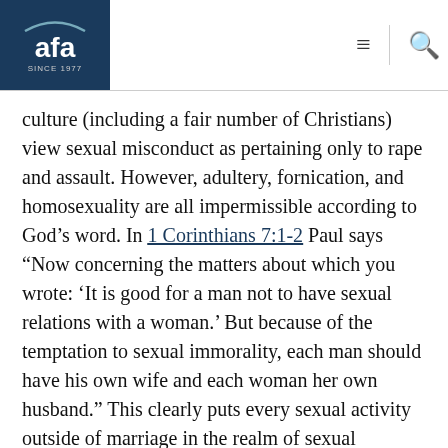AFA logo header with navigation icons
culture (including a fair number of Christians) view sexual misconduct as pertaining only to rape and assault. However, adultery, fornication, and homosexuality are all impermissible according to God’s word. In 1 Corinthians 7:1-2 Paul says “Now concerning the matters about which you wrote: ‘It is good for a man not to have sexual relations with a woman.’ But because of the temptation to sexual immorality, each man should have his own wife and each woman her own husband.” This clearly puts every sexual activity outside of marriage in the realm of sexual immorality.
For decades our culture in America has become increasingly immoral. Most research agrees that the divorce rate is somewhere between 40 and 50 percent.